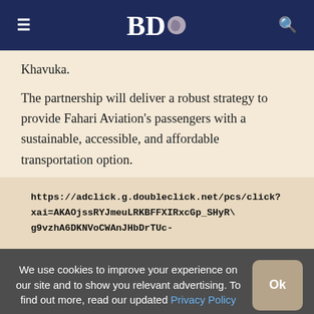BDO Africa
Khavuka.
The partnership will deliver a robust strategy to provide Fahari Aviation's passengers with a sustainable, accessible, and affordable transportation option.
https://adclick.g.doubleclick.net/pcs/click?xai=AKAOjssRYJmeuLRKBFFXIRxcGp_SHyRVg9vzhA6DKNVoCWAnJHbDrTUc-
We use cookies to improve your experience on our site and to show you relevant advertising. To find out more, read our updated Privacy Policy